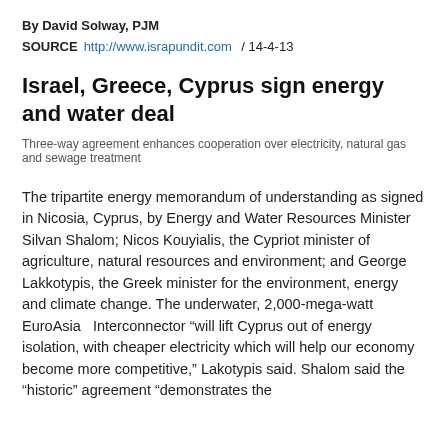By David Solway, PJM
SOURCE  http://www.israpundit.com  / 14-4-13
Israel, Greece, Cyprus sign energy and water deal
Three-way agreement enhances cooperation over electricity, natural gas and sewage treatment
The tripartite energy memorandum of understanding as signed in Nicosia, Cyprus, by Energy and Water Resources Minister Silvan Shalom; Nicos Kouyialis, the Cypriot minister of agriculture, natural resources and environment; and George Lakkotypis, the Greek minister for the environment, energy and climate change. The underwater, 2,000-mega-watt EuroAsia   Interconnector “will lift Cyprus out of energy isolation, with cheaper electricity which will help our economy become more competitive,” Lakotypis said. Shalom said the “historic” agreement “demonstrates the